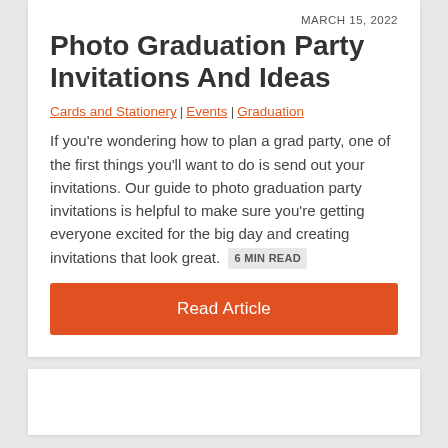MARCH 15, 2022
Photo Graduation Party Invitations And Ideas
Cards and Stationery | Events | Graduation
If you're wondering how to plan a grad party, one of the first things you'll want to do is send out your invitations. Our guide to photo graduation party invitations is helpful to make sure you're getting everyone excited for the big day and creating invitations that look great.  6 MIN READ
Read Article